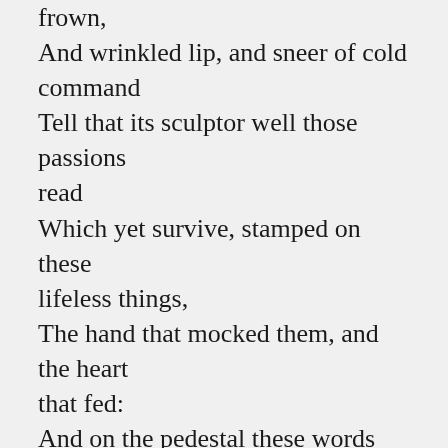frown,
And wrinkled lip, and sneer of cold command
Tell that its sculptor well those passions read
Which yet survive, stamped on these lifeless things,
The hand that mocked them, and the heart that fed:
And on the pedestal these words appear:
“My name is Ozymandias, king of kings:
Look on my works, ye mighty, and despair!”
Nothing beside remains. Round the decay
Of that colossal wreck, boundless and bare
The lone and level sands stretch far away